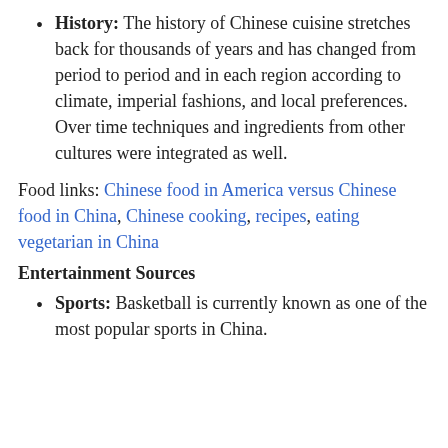History: The history of Chinese cuisine stretches back for thousands of years and has changed from period to period and in each region according to climate, imperial fashions, and local preferences. Over time techniques and ingredients from other cultures were integrated as well.
Food links: Chinese food in America versus Chinese food in China, Chinese cooking, recipes, eating vegetarian in China
Entertainment Sources
Sports: Basketball is currently known as one of the most popular sports in China.